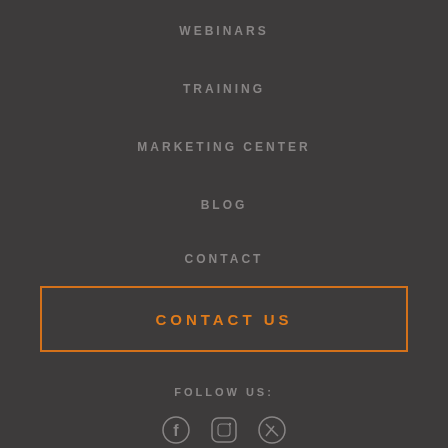WEBINARS
TRAINING
MARKETING CENTER
BLOG
CONTACT
CONTACT US
FOLLOW US:
[Figure (illustration): Social media icons: Facebook, Instagram, and a third icon]